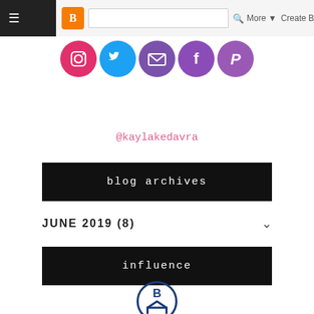Powered by Blogger.
[Figure (screenshot): Blogger navigation bar with hamburger menu, orange B icon, search box, More and Create B buttons]
[Figure (illustration): Row of colorful social media icon circles: Instagram (pink), Twitter (blue), email (purple), Facebook (purple), Pinterest (purple)]
@kaylakedavra
blog archives
JUNE 2019 (8)
influence
[Figure (logo): Blue circle logo with letters B and M inside]